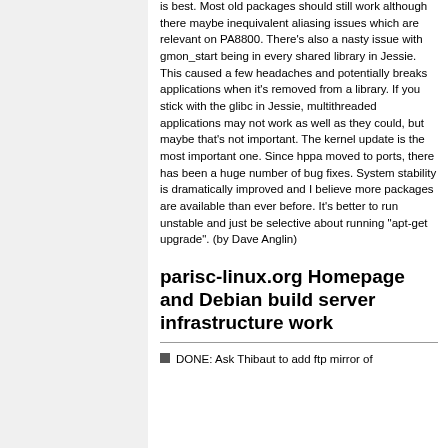is best. Most old packages should still work although there maybe inequivalent aliasing issues which are relevant on PA8800. There's also a nasty issue with gmon_start being in every shared library in Jessie. This caused a few headaches and potentially breaks applications when it's removed from a library. If you stick with the glibc in Jessie, multithreaded applications may not work as well as they could, but maybe that's not important. The kernel update is the most important one. Since hppa moved to ports, there has been a huge number of bug fixes. System stability is dramatically improved and I believe more packages are available than ever before. It's better to run unstable and just be selective about running "apt-get upgrade". (by Dave Anglin)
parisc-linux.org Homepage and Debian build server infrastructure work
DONE: Ask Thibaut to add ftp mirror of